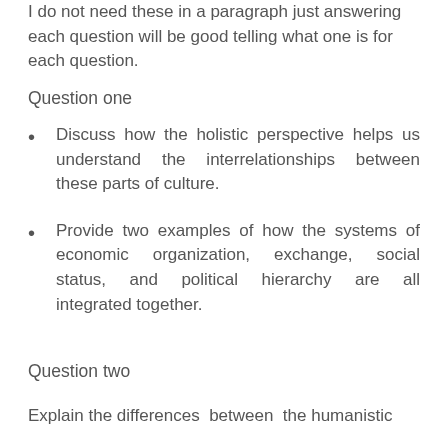I do not need these in a paragraph just answering each question will be good telling what one is for each question.
Question one
Discuss how the holistic perspective helps us understand the interrelationships between these parts of culture.
Provide two examples of how the systems of economic organization, exchange, social status, and political hierarchy are all integrated together.
Question two
Explain the differences between the humanistic